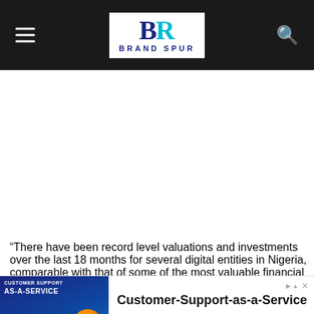Brand Spur
“There have been record level valuations and investments over the last 18 months for several digital entities in Nigeria, comparable with that of some of the most valuable financial institutions on the Nigerian Stock Exchange. Just recently, Chinese alternative financing firm, Qudian, a Fintech
[Figure (infographic): Advertisement banner for Sirius Support: Customer-Support-as-a-Service with Learn More button]